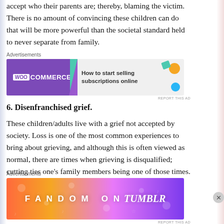accept who their parents are; thereby, blaming the victim. There is no amount of convincing these children can do that will be more powerful than the societal standard held to never separate from family.
[Figure (screenshot): WooCommerce advertisement banner: 'How to start selling subscriptions online']
6. Disenfranchised grief.
These children/adults live with a grief not accepted by society. Loss is one of the most common experiences to bring about grieving, and although this is often viewed as normal, there are times when grieving is disqualified; cutting ties one’s family members being one of those times. Traditional forms of grief are more widely accepted
[Figure (screenshot): Fandom on Tumblr advertisement banner]